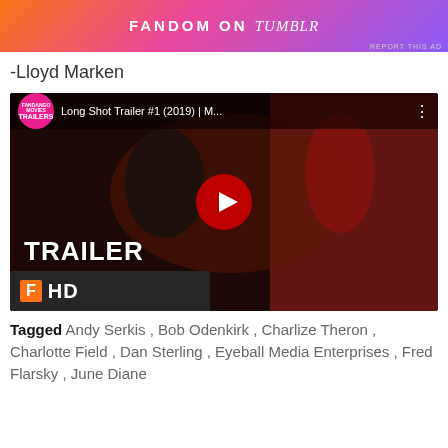[Figure (screenshot): Fandom on Tumblr advertisement banner with colorful gradient background]
-Lloyd Marken
[Figure (screenshot): YouTube video thumbnail for 'Long Shot Trailer #1 (2019) | M...' showing two people at a party, with TRAILER text and Fandango Movies HD logo. Play button centered.]
Tagged Andy Serkis , Bob Odenkirk , Charlize Theron , Charlotte Field , Dan Sterling , Eyeball Media Enterprises , Fred Flarsky , June Diane